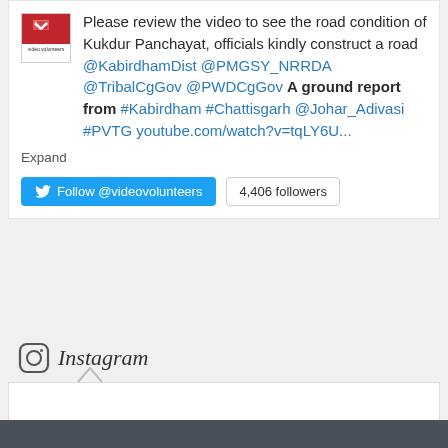Please review the video to see the road condition of Kukdur Panchayat, officials kindly construct a road @KabirdhamDist @PMGSY_NRRDA @TribalCgGov @PWDCgGov A ground report from #Kabirdham #Chattisgarh @Johar_Adivasi #PVTG youtube.com/watch?v=tqLY6U...
Expand
Follow @videovolunteers  4,406 followers
[Figure (logo): Instagram logo icon with camera graphic]
Instagram